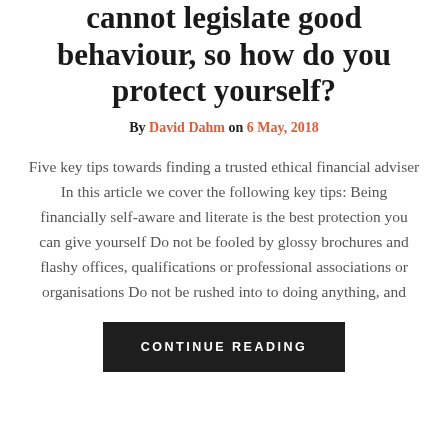cannot legislate good behaviour, so how do you protect yourself?
By David Dahm on 6 May, 2018
Five key tips towards finding a trusted ethical financial adviser In this article we cover the following key tips: Being financially self-aware and literate is the best protection you can give yourself Do not be fooled by glossy brochures and flashy offices, qualifications or professional associations or organisations Do not be rushed into to doing anything, and
CONTINUE READING